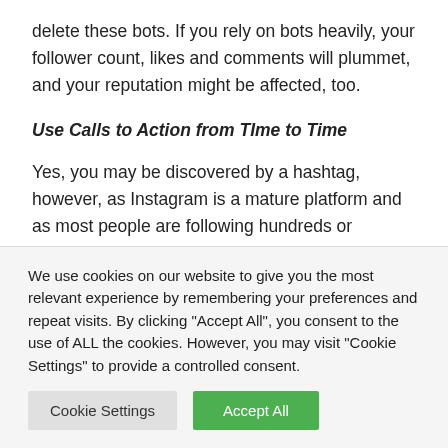delete these bots. If you rely on bots heavily, your follower count, likes and comments will plummet, and your reputation might be affected, too.
Use Calls to Action from TIme to Time
Yes, you may be discovered by a hashtag, however, as Instagram is a mature platform and as most people are following hundreds or thousands of accounts – many of which are posting multiple times a week – there is no shortage of
We use cookies on our website to give you the most relevant experience by remembering your preferences and repeat visits. By clicking "Accept All", you consent to the use of ALL the cookies. However, you may visit "Cookie Settings" to provide a controlled consent.
Cookie Settings   Accept All